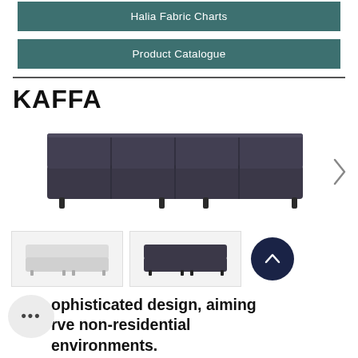Halia Fabric Charts
Product Catalogue
KAFFA
[Figure (photo): A wide dark grey/charcoal four-section modular sofa with low backrest and dark tapered legs, shown in main product view with a right arrow navigation button]
[Figure (photo): Two thumbnail images of the KAFFA sofa: left thumbnail shows a light grey version without arms, right thumbnail shows a dark charcoal version without armrests]
…ophisticated design, aiming rve non-residential environments.